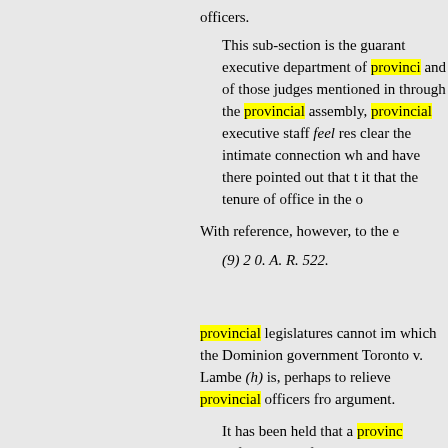officers.
This sub-section is the guarantee of the executive department of provincial and of those judges mentioned in through the provincial assembly, provincial executive staff feel res clear the intimate connection wh and have there pointed out that t it that the tenure of office in the o
With reference, however, to the e
(9) 2 0. A. R. 522.
provincial legislatures cannot im which the Dominion government Toronto v. Lambe (h) is, perhaps to relieve provincial officers from argument.
It has been held that a provinc enforcement of The Canada Tem them had been adopted. In the la Ontario: